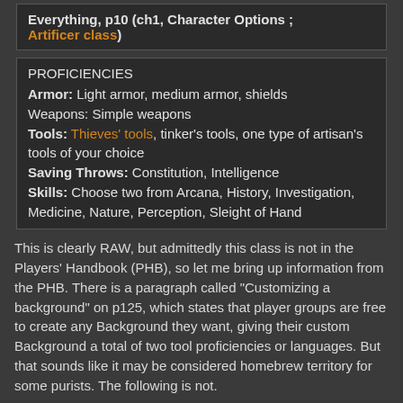Everything, p10 (ch1, Character Options ; Artificer class)
PROFICIENCIES
Armor: Light armor, medium armor, shields
Weapons: Simple weapons
Tools: Thieves' tools, tinker's tools, one type of artisan's tools of your choice
Saving Throws: Constitution, Intelligence
Skills: Choose two from Arcana, History, Investigation, Medicine, Nature, Perception, Sleight of Hand
This is clearly RAW, but admittedly this class is not in the Players' Handbook (PHB), so let me bring up information from the PHB. There is a paragraph called "Customizing a background" on p125, which states that player groups are free to create any Background they want, giving their custom Background a total of two tool proficiencies or languages. But that sounds like it may be considered homebrew territory for some purists. The following is not.
Originally Posted by PHB, p129 (ch4, Personality And Background ; Backgrounds ; Criminal)
Skill Proficiencies: Deception, Stealth